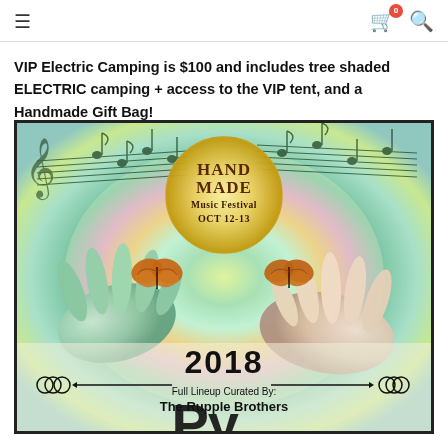☰  🛒 0  🔍
VIP Electric Camping is $100 and includes tree shaded ELECTRIC camping + access to the VIP tent, and a Handmade Gift Bag!
[Figure (illustration): Festival poster for Handmade Music Festival OCT 12-13, 2018. Features a tie-dye colorful background with musical notes, two hands reaching toward each other with monarch butterflies, a circular moon with 'HAND MADE Music Festival OCT 12-13' text, and bottom text '2018 Full Lineup Curated By: The Rupple Brothers' with decorative circle ornaments.]